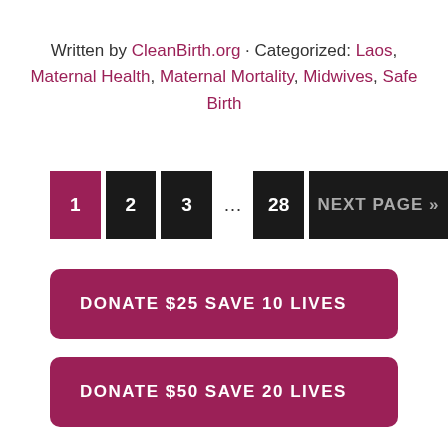Written by CleanBirth.org · Categorized: Laos, Maternal Health, Maternal Mortality, Midwives, Safe Birth
1  2  3  ...  28  NEXT PAGE »
DONATE $25 SAVE 10 LIVES
DONATE $50 SAVE 20 LIVES